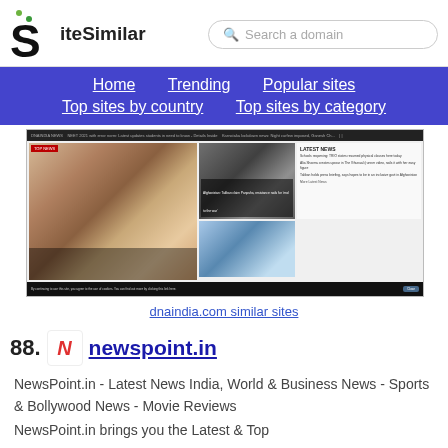[Figure (logo): SiteSimilar logo with stylized S and green dots, plus search bar]
Home | Trending | Popular sites | Top sites by country | Top sites by category
[Figure (screenshot): Screenshot of dnaindia.com website showing news articles]
dnaindia.com similar sites
88. newspoint.in
NewsPoint.in - Latest News India, World & Business News - Sports & Bollywood News - Movie Reviews
NewsPoint.in brings you the Latest & Top